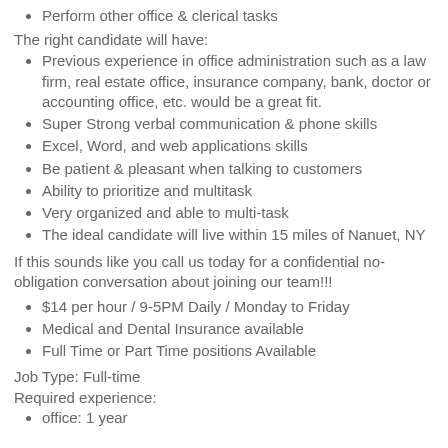Perform other office & clerical tasks
The right candidate will have:
Previous experience in office administration such as a law firm, real estate office, insurance company, bank, doctor or accounting office, etc. would be a great fit.
Super Strong verbal communication & phone skills
Excel, Word, and web applications skills
Be patient & pleasant when talking to customers
Ability to prioritize and multitask
Very organized and able to multi-task
The ideal candidate will live within 15 miles of Nanuet, NY
If this sounds like you call us today for a confidential no-obligation conversation about joining our team!!!
$14 per hour / 9-5PM Daily / Monday to Friday
Medical and Dental Insurance available
Full Time or Part Time positions Available
Job Type: Full-time
Required experience:
office: 1 year